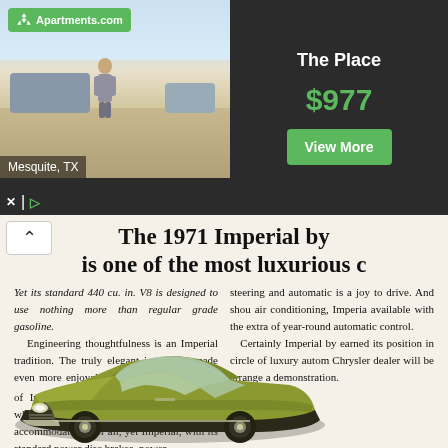[Figure (screenshot): Apartments.com advertisement banner showing a room interior photo with text 'The Place', price '$977', and 'View More' button. Location shown as Mesquite, TX.]
The 1971 Imperial by is one of the most luxurious c
Yet its standard 440 cu. in. V8 is designed to use nothing more than regular grade gasoline. Engineering thoughtfulness is an Imperial tradition. The truly elegant interior is made even more enjoyable by the uncanny silence of Imperial's Torsion-Quiet ride. The 127'' wheelbase provides generous accommodations for all, yet Imperial, with its standard power disc brakes, power
steering and automatic is a joy to drive. And shou air conditioning, Imperia available with the extra of year-round automatic control. Certainly Imperial by earned its position in circle of luxury autom Chrysler dealer will be arrange a demonstration.
CANADA'S BEST-SELLING LUXU
[Figure (photo): Photo of a 1971 Imperial automobile in olive/yellow-green color, front three-quarter view]